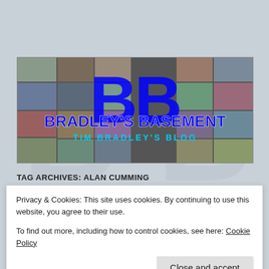Menu
[Figure (logo): Bradley's Basement – Tim Bradley's Blog banner logo with movie poster collage background and large blue 'BB' letters]
TAG ARCHIVES: ALAN CUMMING
Privacy & Cookies: This site uses cookies. By continuing to use this website, you agree to their use.
To find out more, including how to control cookies, see here: Cookie Policy
Close and accept